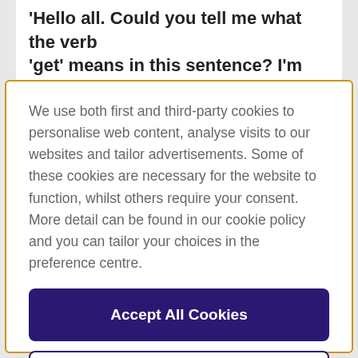'Hello all. Could you tell me what the verb 'get' means in this sentence? I'm motivated to get my work done even
We use both first and third-party cookies to personalise web content, analyse visits to our websites and tailor advertisements. Some of these cookies are necessary for the website to function, whilst others require your consent. More detail can be found in our cookie policy and you can tailor your choices in the preference centre.
Accept All Cookies
Cookies Settings